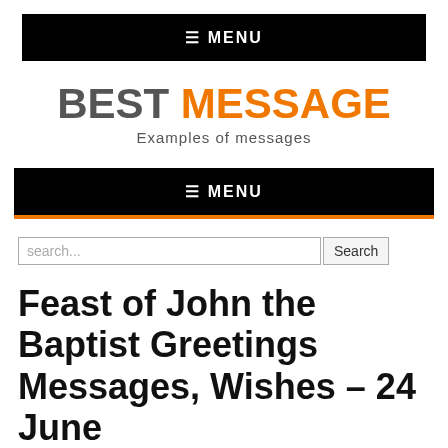≡ MENU
BEST MESSAGE
Examples of messages
≡ MENU
search...  Search
Feast of John the Baptist Greetings Messages, Wishes – 24 June